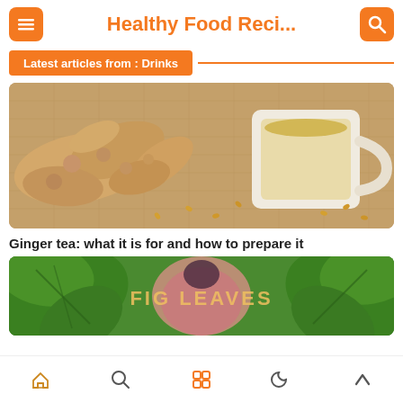Healthy Food Reci...
Latest articles from : Drinks
[Figure (photo): Ginger roots and a white cup of ginger tea on a burlap surface]
Ginger tea: what it is for and how to prepare it
[Figure (photo): Fig leaves with text overlay reading FIG LEAVES]